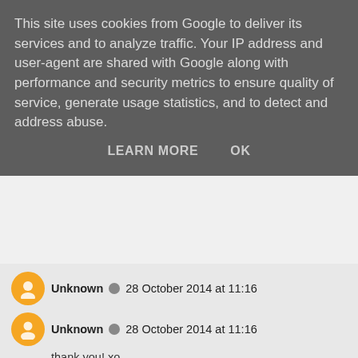This site uses cookies from Google to deliver its services and to analyze traffic. Your IP address and user-agent are shared with Google along with performance and security metrics to ensure quality of service, generate usage statistics, and to detect and address abuse.
LEARN MORE   OK
Unknown  28 October 2014 at 11:16
thank you! xo
Reply
Kiera Noelle  27 October 2014 at 23:58
I'll be 17 for a month and a half, and I'm grateful to say that I've been mostly unscathed by my teen years. ^.^ There were certainly some bad makeup days, but there's no photographic evidence... so that doesn't count? But I do wish someone had told me to value myself and date boys who showed that they liked me for me, and genuinely liked